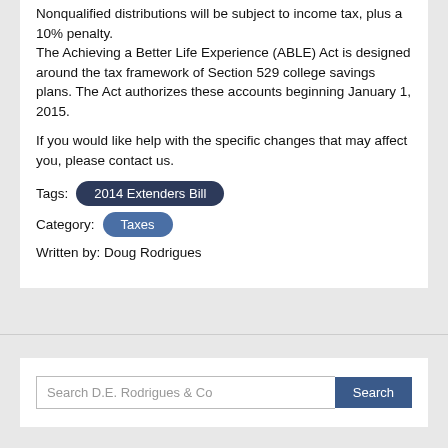Nonqualified distributions will be subject to income tax, plus a 10% penalty. The Achieving a Better Life Experience (ABLE) Act is designed around the tax framework of Section 529 college savings plans. The Act authorizes these accounts beginning January 1, 2015.
If you would like help with the specific changes that may affect you, please contact us.
Tags: 2014 Extenders Bill
Category: Taxes
Written by: Doug Rodrigues